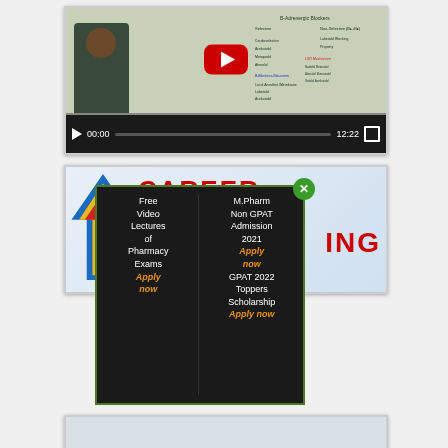[Figure (screenshot): YouTube video player showing a pharmacy lecture with a man in front of a whiteboard. Video duration 12:22, currently at 00:00. Whiteboard contains text about B-Adrenergic blockers including Selective and Non-Selective categories.]
[Figure (screenshot): Career counseling website screenshot with CAREER text in red, colorful arrow/logo on left, and a popup overlay showing pharmacy education advertisements]
Free Video Lectures of Pharmacy Exams
Apply now
M.Pharm Non GPAT Admission 2021
Apply now
GPAT 2022 Toppers Scholarship
Apply now